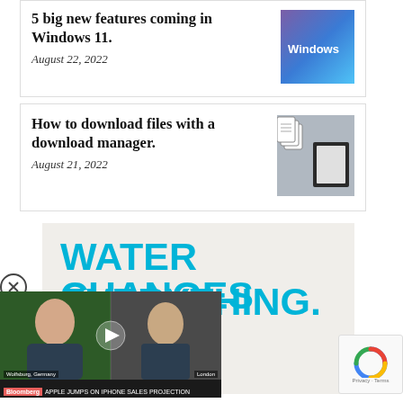5 big new features coming in Windows 11.
August 22, 2022
[Figure (screenshot): Windows 11 logo screenshot with blue/purple gradient background]
How to download files with a download manager.
August 21, 2022
[Figure (photo): Photo of hands on keyboard with download icons overlay]
[Figure (infographic): Water.org advertisement banner with text WATER CHANGES EVERYTHING. and water.org URL]
[Figure (screenshot): Bloomberg video player showing two men, locations Wolfsburg Germany and London, headline APPLE JUMPS ON IPHONE SALES PROJECTION]